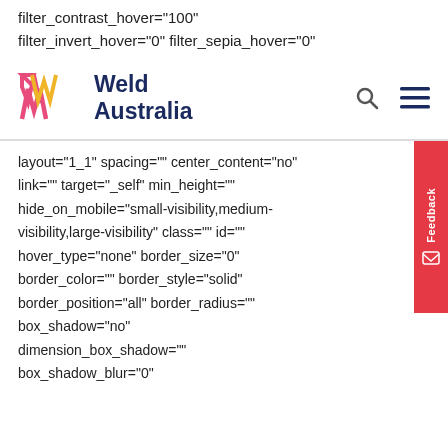filter_contrast_hover="100" filter_invert_hover="0" filter_sepia_hover="0"
[Figure (logo): Weld Australia logo with stylized W mark in red/pink and yellow colors, and text 'Weld Australia' in dark navy blue]
layout="1_1" spacing="" center_content="no" link="" target="_self" min_height="" hide_on_mobile="small-visibility,medium-visibility,large-visibility" class="" id="" hover_type="none" border_size="0" border_color="" border_style="solid" border_position="all" border_radius="" box_shadow="no" dimension_box_shadow="" box_shadow_blur="0"